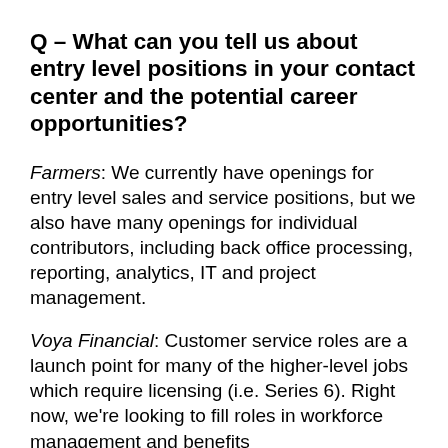Q – What can you tell us about entry level positions in your contact center and the potential career opportunities?
Farmers: We currently have openings for entry level sales and service positions, but we also have many openings for individual contributors, including back office processing, reporting, analytics, IT and project management.
Voya Financial: Customer service roles are a launch point for many of the higher-level jobs which require licensing (i.e. Series 6). Right now, we're looking to fill roles in workforce management and benefits